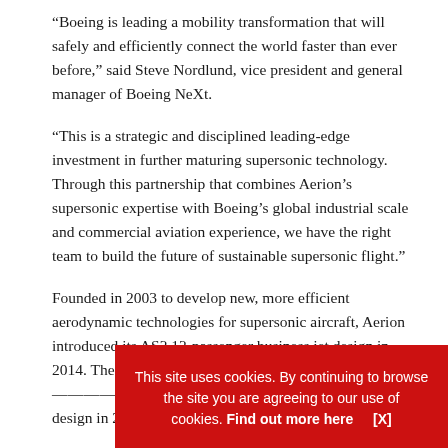“Boeing is leading a mobility transformation that will safely and efficiently connect the world faster than ever before,” said Steve Nordlund, vice president and general manager of Boeing NeXt.
“This is a strategic and disciplined leading-edge investment in further maturing supersonic technology. Through this partnership that combines Aerion’s supersonic expertise with Boeing’s global industrial scale and commercial aviation experience, we have the right team to build the future of sustainable supersonic flight.”
Founded in 2003 to develop new, more efficient aerodynamic technologies for supersonic aircraft, Aerion introduced its AS2 12-passenger business jet design in 2014. The d— [partially obscured] — design in 2— [partially obscured]
“Aerion is t— [partially obscured]
This site uses cookies. By continuing to browse the site you are agreeing to our use of cookies. Find out more here   [X]